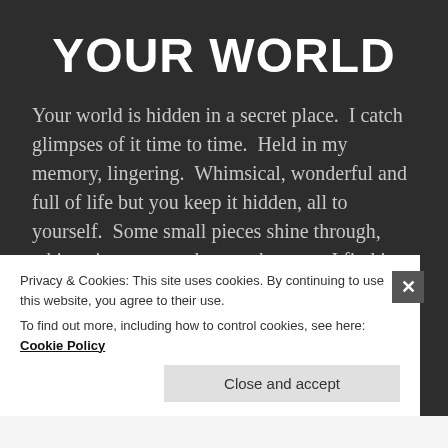YOUR WORLD
Your world is hidden in a secret place.  I catch glimpses of it time to time.  Held in my memory, lingering.  Whimsical, wonderful and full of life but you keep it hidden, all to yourself.  Some small pieces shine through, whispering to any who may be near.  I find it captivating, even mesmerizing.  To be [...]
READ MORE →
Privacy & Cookies: This site uses cookies. By continuing to use this website, you agree to their use.
To find out more, including how to control cookies, see here: Cookie Policy
Close and accept